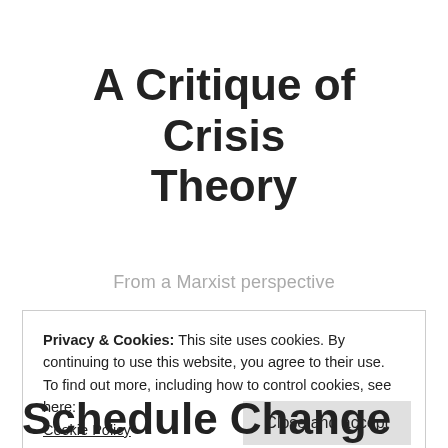A Critique of Crisis Theory
From a Marxist perspective
Privacy & Cookies: This site uses cookies. By continuing to use this website, you agree to their use.
To find out more, including how to control cookies, see here: Cookie Policy
Close and accept
Schedule Change